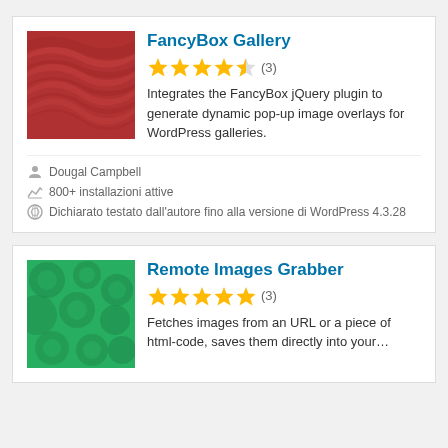FancyBox Gallery
★★★★½ (3)
Integrates the FancyBox jQuery plugin to generate dynamic pop-up image overlays for WordPress galleries.
Dougal Campbell
800+ installazioni attive
Dichiarato testato dall'autore fino alla versione di WordPress 4.3.28
Remote Images Grabber
★★★★★ (3)
Fetches images from an URL or a piece of html-code, saves them directly into your…